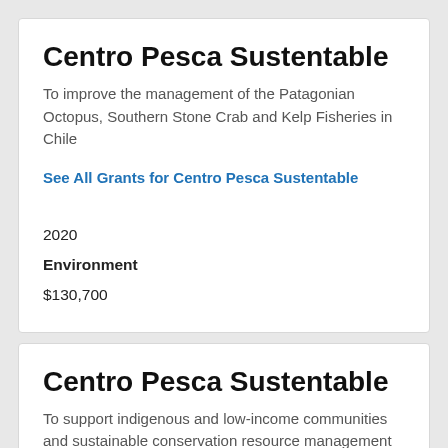Centro Pesca Sustentable
To improve the management of the Patagonian Octopus, Southern Stone Crab and Kelp Fisheries in Chile
See All Grants for Centro Pesca Sustentable
2020
Environment
$130,700
Centro Pesca Sustentable
To support indigenous and low-income communities and sustainable conservation resource management practices through creating an online demand for